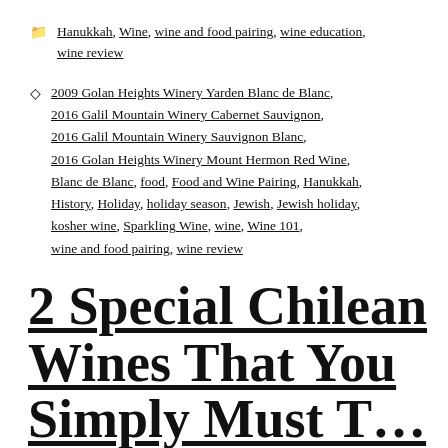🗁 Hanukkah, Wine, wine and food pairing, wine education, wine review
◇ 2009 Golan Heights Winery Yarden Blanc de Blanc, 2016 Galil Mountain Winery Cabernet Sauvignon, 2016 Galil Mountain Winery Sauvignon Blanc, 2016 Golan Heights Winery Mount Hermon Red Wine, Blanc de Blanc, food, Food and Wine Pairing, Hanukkah, History, Holiday, holiday season, Jewish, Jewish holiday, kosher wine, Sparkling Wine, wine, Wine 101, wine and food pairing, wine review
2 Special Chilean Wines That You Simply Must T…